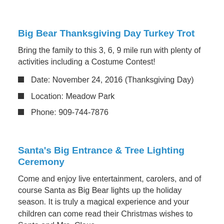Big Bear Thanksgiving Day Turkey Trot
Bring the family to this 3, 6, 9 mile run with plenty of activities including a Costume Contest!
Date: November 24, 2016 (Thanksgiving Day)
Location: Meadow Park
Phone: 909-744-7876
Santa's Big Entrance & Tree Lighting Ceremony
Come and enjoy live entertainment, carolers, and of course Santa as Big Bear lights up the holiday season. It is truly a magical experience and your children can come read their Christmas wishes to Santa and Mrs. Claus.